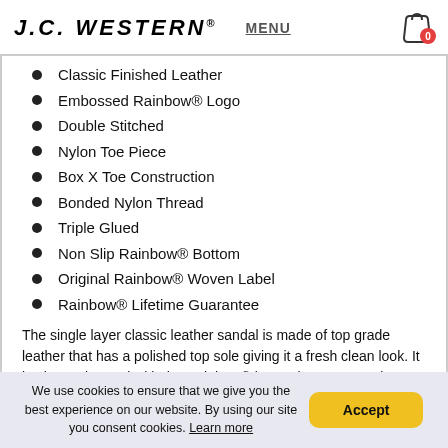J.C. WESTERN® MENU 0
Classic Finished Leather
Embossed Rainbow® Logo
Double Stitched
Nylon Toe Piece
Box X Toe Construction
Bonded Nylon Thread
Triple Glued
Non Slip Rainbow® Bottom
Original Rainbow® Woven Label
Rainbow® Lifetime Guarantee
The single layer classic leather sandal is made of top grade leather that has a polished top sole giving it a fresh clean look. It is also embossed with the Rainbow® logo. The 1" strap, also classic leather is double stitched, and the nylon toe piece is secured with a box X stitch, all using bonded nylon thread.
We use cookies to ensure that we give you the best experience on our website. By using our site you consent cookies. Learn more  Accept